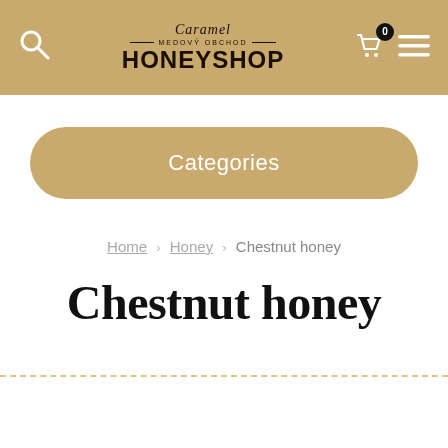Caramel MEDOVÝ OBCHOD HONEYSHOP — navigation header with search, logo, cart (0), and menu
Categories
Home › Honey › Chestnut honey
Chestnut honey